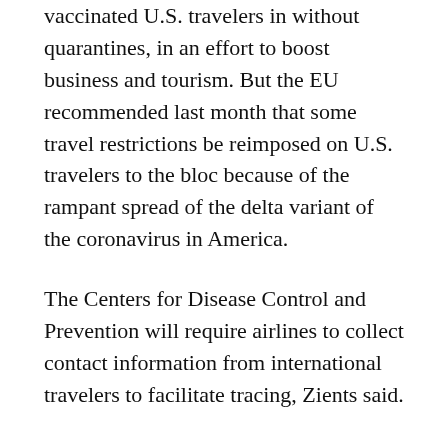vaccinated U.S. travelers in without quarantines, in an effort to boost business and tourism. But the EU recommended last month that some travel restrictions be reimposed on U.S. travelers to the bloc because of the rampant spread of the delta variant of the coronavirus in America.
The Centers for Disease Control and Prevention will require airlines to collect contact information from international travelers to facilitate tracing, Zients said.
It was not immediately clear which vaccines